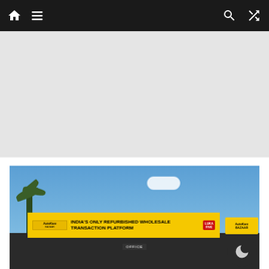Navigation bar with home, menu, search, and shuffle icons
[Figure (other): Gray advertisement placeholder area]
[Figure (photo): AutoKarz dealership storefront with a large yellow banner reading INDIA'S ONLY REFURBISHED WHOLESALE TRANSACTION PLATFORM, palm trees in background, blue sky]